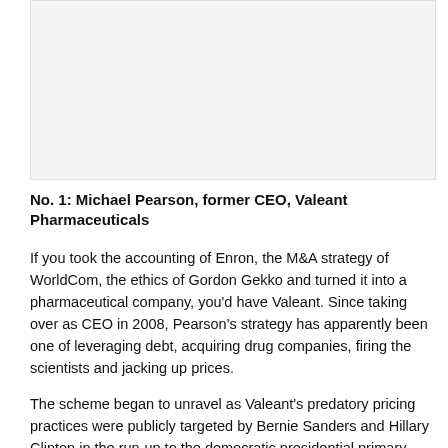[Figure (photo): Image placeholder / photo area at top of page]
No. 1: Michael Pearson, former CEO, Valeant Pharmaceuticals
If you took the accounting of Enron, the M&A strategy of WorldCom, the ethics of Gordon Gekko and turned it into a pharmaceutical company, you'd have Valeant. Since taking over as CEO in 2008, Pearson's strategy has apparently been one of leveraging debt, acquiring drug companies, firing the scientists and jacking up prices.
The scheme began to unravel as Valeant's predatory pricing practices were publicly targeted by Bernie Sanders and Hillary Clinton in the run-up to the democratic presidential primary. The stock has since lost 95% of its